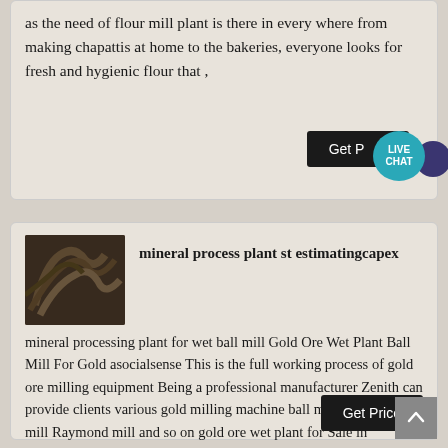as the need of flour mill plant is there in every where from making chapattis at home to the bakeries, everyone looks for fresh and hygienic flour that ,
[Figure (photo): Industrial machinery photo showing metal piping or coiled equipment, dark tones]
mineral process plant st estimatingcapex
mineral processing plant for wet ball mill Gold Ore Wet Plant Ball Mill For Gold asocialsense This is the full working process of gold ore milling equipment Being a professional manufacturer Zenith can provide clients various gold milling machine ball mill vertical roller mill Raymond mill and so on gold ore wet plant for Sale in Zimbabwe